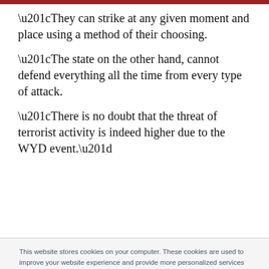“They can strike at any given moment and place using a method of their choosing.
“The state on the other hand, cannot defend everything all the time from every type of attack.
“There is no doubt that the threat of terrorist activity is indeed higher due to the WYD event.”
This website stores cookies on your computer. These cookies are used to improve your website experience and provide more personalized services to you, both on this website and through other media. To find out more about the cookies we use, see our Privacy Policy.

If you decline, your information won’t be tracked when you visit this website. A single cookie will be used in your browser to remember your preference not to be tracked.